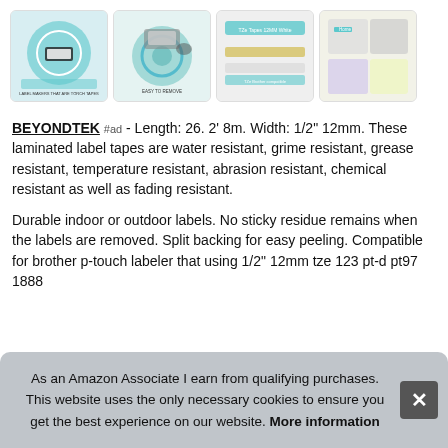[Figure (photo): Four product thumbnail images showing label maker tapes and accessories, displayed in a horizontal row]
BEYONDTEK #ad - Length: 26. 2' 8m. Width: 1/2" 12mm. These laminated label tapes are water resistant, grime resistant, grease resistant, temperature resistant, abrasion resistant, chemical resistant as well as fading resistant.
Durable indoor or outdoor labels. No sticky residue remains when the labels are removed. Split backing for easy peeling. Compatible for brother p-touch labeler that using 1/2" 12mm tze 123 pt-d pt97 188
As an Amazon Associate I earn from qualifying purchases. This website uses the only necessary cookies to ensure you get the best experience on our website. More information